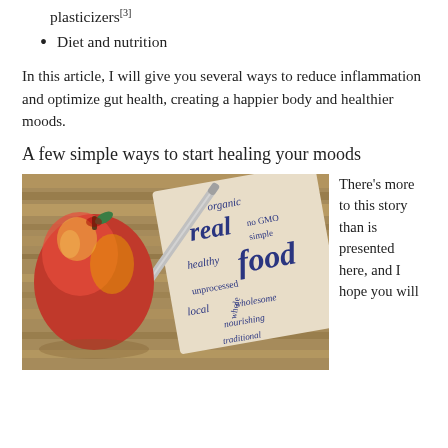plasticizers[3]
Diet and nutrition
In this article, I will give you several ways to reduce inflammation and optimize gut health, creating a happier body and healthier moods.
A few simple ways to start healing your moods
[Figure (photo): Photo of a red apple next to a napkin with food-related words (organic, real food, no GMO, simple, healthy, unprocessed, local, whole, wholesome, nourishing, traditional) and a silver pen, placed on a wooden surface.]
There’s more to this story than is presented here, and I hope you will